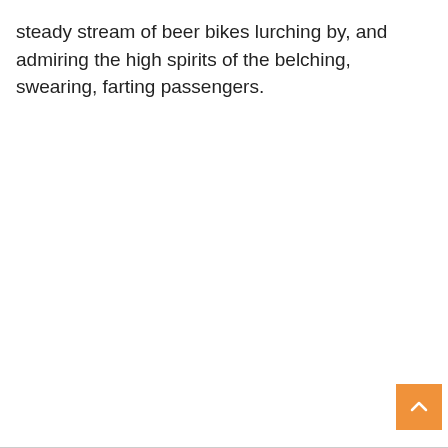steady stream of beer bikes lurching by, and admiring the high spirits of the belching, swearing, farting passengers.